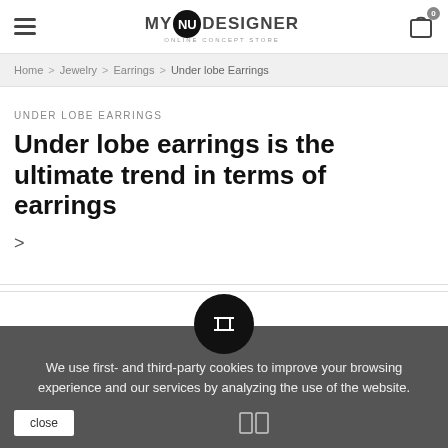MY NU DESIGNER ONLINE CONCEPT STORE
Home > Jewelry > Earrings > Under lobe Earrings
UNDER LOBE EARRINGS
Under lobe earrings is the ultimate trend in terms of earrings
>
We use first- and third-party cookies to improve your browsing experience and our services by analyzing the use of the website.